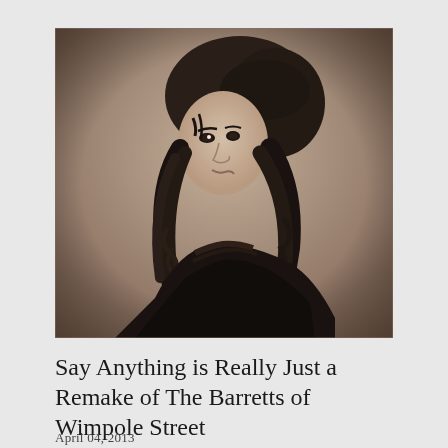[Figure (photo): A sepia-toned engraved portrait of a Victorian woman with long curly dark hair, wearing a dark dress, shown in three-quarter profile view looking slightly to the left.]
Say Anything is Really Just a Remake of The Barretts of Wimpole Street
April 04, 2013